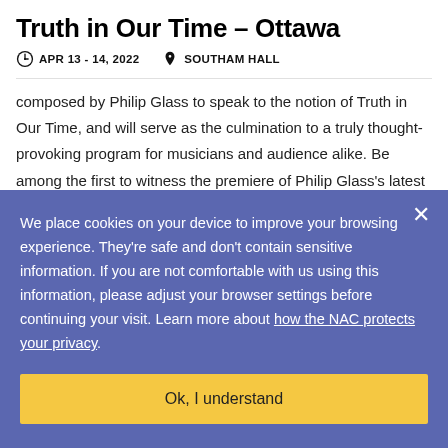Truth in Our Time – Ottawa
APR 13 - 14, 2022   SOUTHAM HALL
composed by Philip Glass to speak to the notion of Truth in Our Time, and will serve as the culmination to a truly thought-provoking program for musicians and audience alike. Be among the first to witness the premiere of Philip Glass's latest composition!
We place cookies on your device to improve your browsing experience. They're safe and don't contain sensitive information. If you are not comfortable with us using this information, please adjust your browser settings before continuing your visit. Learn more about how the NAC protects your privacy.
Ok, I understand